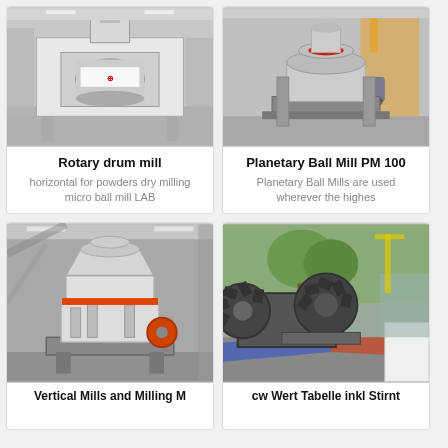[Figure (photo): Rotary drum mill machine in factory setting]
Rotary drum mill
horizontal for powders dry milling micro ball mill LAB
Get Price +
[Figure (photo): Planetary Ball Mill PM 100 machine in factory]
Planetary Ball Mill PM 100
Planetary Ball Mills are used wherever the highes
Get Price +
[Figure (photo): Vertical Mills and Milling Machines - cone crusher in factory]
Vertical Mills and Milling M
[Figure (photo): cw Wert Tabelle inkl Stirnt - wheel/bucket machinery outdoors]
cw Wert Tabelle inkl Stirnt